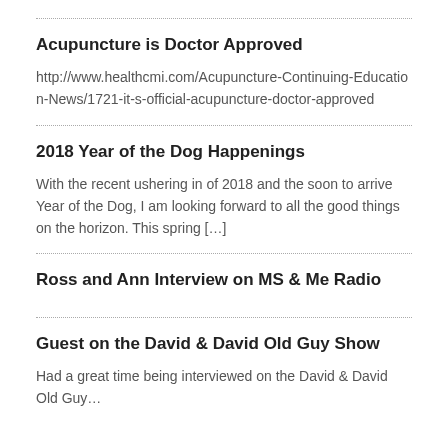Acupuncture is Doctor Approved
http://www.healthcmi.com/Acupuncture-Continuing-Education-News/1721-it-s-official-acupuncture-doctor-approved
2018 Year of the Dog Happenings
With the recent ushering in of 2018 and the soon to arrive Year of the Dog, I am looking forward to all the good things on the horizon. This spring […]
Ross and Ann Interview on MS & Me Radio
Guest on the David & David Old Guy Show
Had a great time being interviewed on the David & David Old Guy…